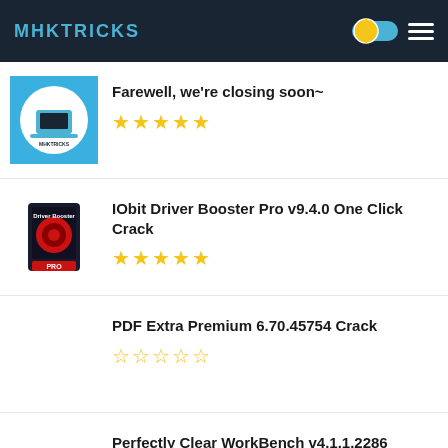MHKTRICKS
Farewell, we're closing soon~
IObit Driver Booster Pro v9.4.0 One Click Crack
PDF Extra Premium 6.70.45754 Crack
Perfectly Clear WorkBench v4.1.1.2286 Preactivated